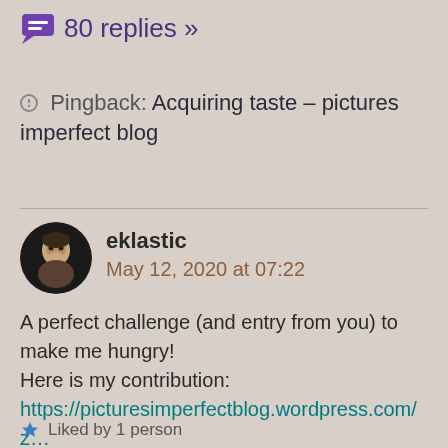80 replies »
Pingback: Acquiring taste – pictures imperfect blog
eklastic
May 12, 2020 at 07:22
A perfect challenge (and entry from you) to make me hungry!
Here is my contribution:
https://picturesimperfectblog.wordpress.com/...taste/
Liked by 1 person